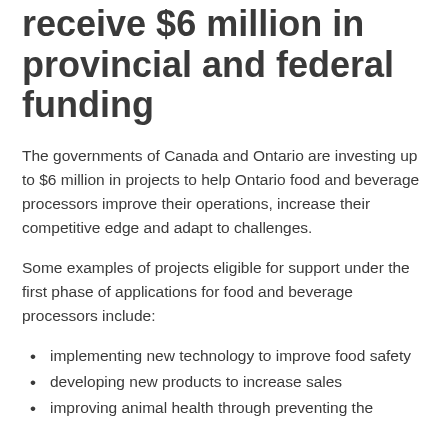receive $6 million in provincial and federal funding
The governments of Canada and Ontario are investing up to $6 million in projects to help Ontario food and beverage processors improve their operations, increase their competitive edge and adapt to challenges.
Some examples of projects eligible for support under the first phase of applications for food and beverage processors include:
implementing new technology to improve food safety
developing new products to increase sales
improving animal health through preventing the